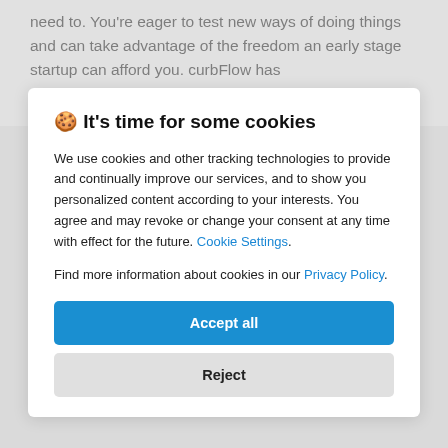need to. You're eager to test new ways of doing things and can take advantage of the freedom an early stage startup can afford you. curbFlow has
🍪 It's time for some cookies
We use cookies and other tracking technologies to provide and continually improve our services, and to show you personalized content according to your interests. You agree and may revoke or change your consent at any time with effect for the future. Cookie Settings.
Find more information about cookies in our Privacy Policy.
Accept all
Reject